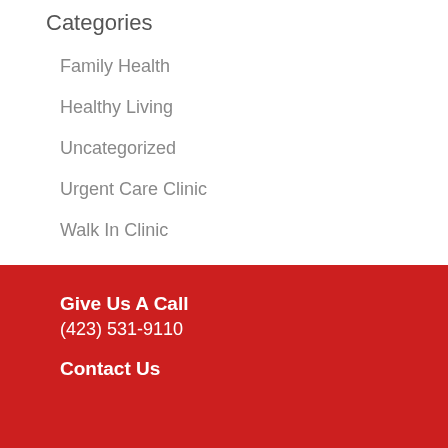Categories
Family Health
Healthy Living
Uncategorized
Urgent Care Clinic
Walk In Clinic
Give Us A Call
(423) 531-9110
Contact Us